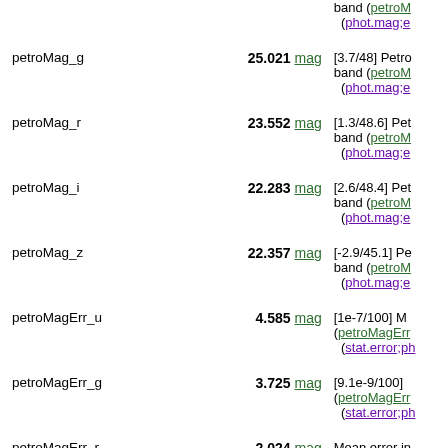| Name | Value | Description |
| --- | --- | --- |
| petroMag_g | 25.021 mag | [3.7/48] Petro band (petroM (phot.mag;e |
| petroMag_r | 23.552 mag | [1.3/48.6] Pet band (petroM (phot.mag;e |
| petroMag_i | 22.283 mag | [2.6/48.4] Pet band (petroM (phot.mag;e |
| petroMag_z | 22.357 mag | [-2.9/45.1] Pe band (petroM (phot.mag;e |
| petroMagErr_u | 4.585 mag | [1e-7/100] M (petroMagErr (stat.error;ph |
| petroMagErr_g | 3.725 mag | [9.1e-9/100] (petroMagErr (stat.error;ph |
| petroMagErr_r | 2.024 mag | Mean error in (petroMagErr (stat.error;ph |
| petroMagErr_i | 0.935 mag | Mean error in |